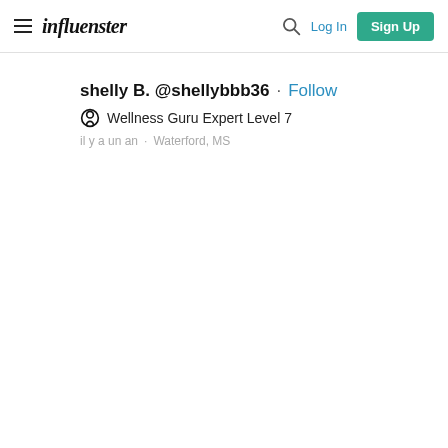influenster — Log In  Sign Up
shelly B. @shellybbb36 · Follow
Wellness Guru Expert Level 7
il y a un an · Waterford, MS